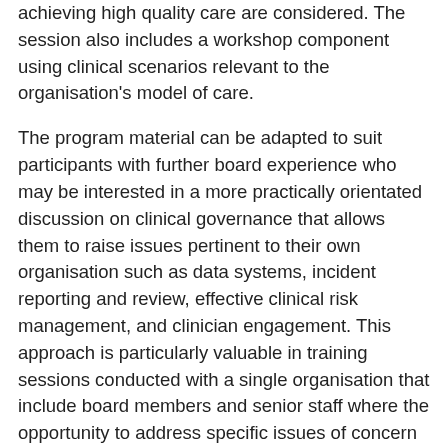achieving high quality care are considered. The session also includes a workshop component using clinical scenarios relevant to the organisation's model of care.
The program material can be adapted to suit participants with further board experience who may be interested in a more practically orientated discussion on clinical governance that allows them to raise issues pertinent to their own organisation such as data systems, incident reporting and review, effective clinical risk management, and clinician engagement. This approach is particularly valuable in training sessions conducted with a single organisation that include board members and senior staff where the opportunity to address specific issues of concern or areas for improvement can be accommodated. Sessions are generally 3.5 hours; however, shorter programs of two hours with reduced workshop content are available.